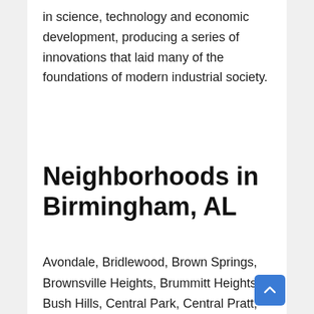in science, technology and economic development, producing a series of innovations that laid many of the foundations of modern industrial society.
Neighborhoods in Birmingham, AL
Avondale, Bridlewood, Brown Springs, Brownsville Heights, Brummitt Heights, Bush Hills, Central Park, Central Pratt, College Hills, Collegeville, Crestwood North, Crestwood South, Druid Hills, East Avondale, East Birmingham